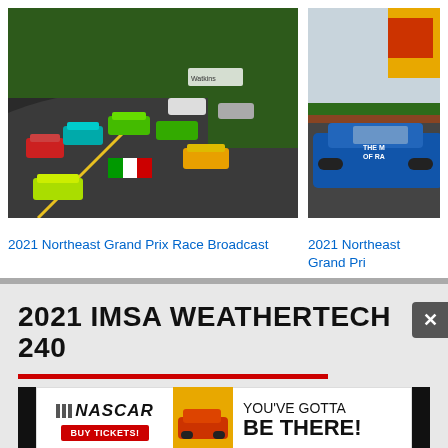[Figure (photo): Multiple GT racing cars on track corner at 2021 Northeast Grand Prix, aerial/wide view]
[Figure (photo): Blue GT racing car on track at 2021 Northeast Grand Prix, partial crop from right]
2021 Northeast Grand Prix Race Broadcast
2021 Northeast Grand Pri
2021 IMSA WEATHERTECH 240
[Figure (advertisement): NASCAR Buy Tickets advertisement — YOU'VE GOTTA BE THERE!]